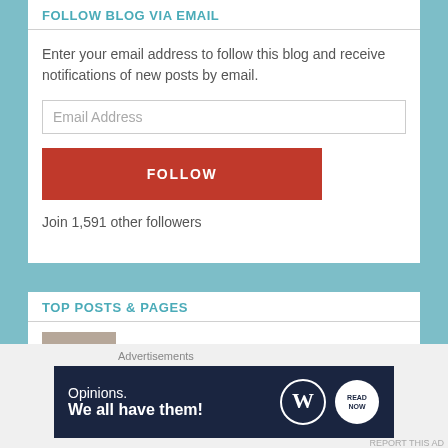FOLLOW BLOG VIA EMAIL
Enter your email address to follow this blog and receive notifications of new posts by email.
Email Address
FOLLOW
Join 1,591 other followers
TOP POSTS & PAGES
Is "saudade" really untranslatable?
About me and about this blog
Advertisements
[Figure (screenshot): WordPress advertisement banner with text 'Opinions. We all have them!' and WordPress logo icons on dark navy background]